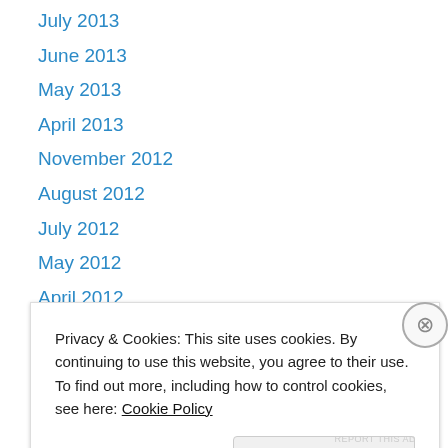July 2013
June 2013
May 2013
April 2013
November 2012
August 2012
July 2012
May 2012
April 2012
Categories
Akasha
Privacy & Cookies: This site uses cookies. By continuing to use this website, you agree to their use.
To find out more, including how to control cookies, see here: Cookie Policy